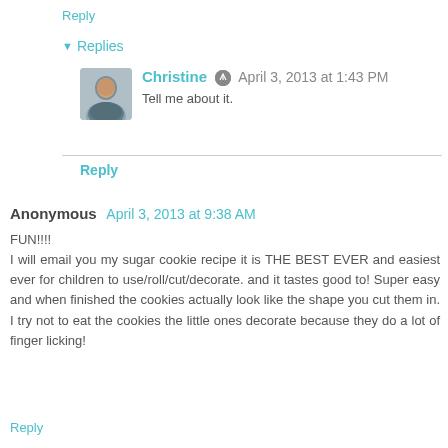Reply
▼ Replies
Christine  April 3, 2013 at 1:43 PM
Tell me about it.
Reply
Anonymous  April 3, 2013 at 9:38 AM
FUN!!!!
I will email you my sugar cookie recipe it is THE BEST EVER and easiest ever for children to use/roll/cut/decorate. and it tastes good to! Super easy and when finished the cookies actually look like the shape you cut them in. I try not to eat the cookies the little ones decorate because they do a lot of finger licking!
Reply